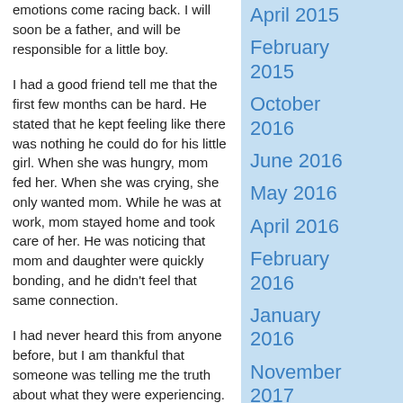emotions come racing back. I will soon be a father, and will be responsible for a little boy.
I had a good friend tell me that the first few months can be hard. He stated that he kept feeling like there was nothing he could do for his little girl. When she was hungry, mom fed her. When she was crying, she only wanted mom. While he was at work, mom stayed home and took care of her. He was noticing that mom and daughter were quickly bonding, and he didn't feel that same connection.
I had never heard this from anyone before, but I am thankful that someone was telling me the truth about what they were experiencing. I asked myself, “What can I do to bond with my son when he is a newborn”? I know that once he is older, we will get to have all of those father-son moments, but I don't want to wait for years down
April 2015
February 2015
October 2016
June 2016
May 2016
April 2016
February 2016
January 2016
November 2017